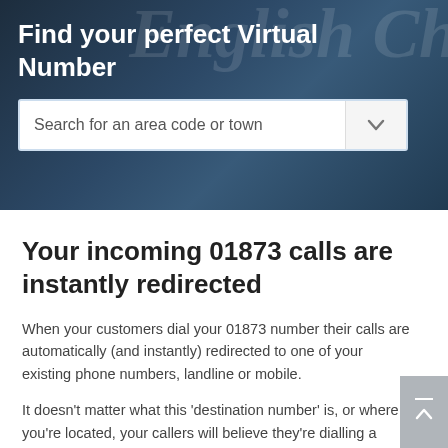[Figure (screenshot): Dark hero banner with background image of English coins/currency, overlaid with a dark semi-transparent panel containing a title and search box]
Find your perfect Virtual Number
Search for an area code or town
Your incoming 01873 calls are instantly redirected
When your customers dial your 01873 number their calls are automatically (and instantly) redirected to one of your existing phone numbers, landline or mobile.
It doesn't matter what this 'destination number' is, or where you're located, your callers will believe they're dialling a landline in Abergavenny. Naturally, they'll be completely unaware their calls are being redirected